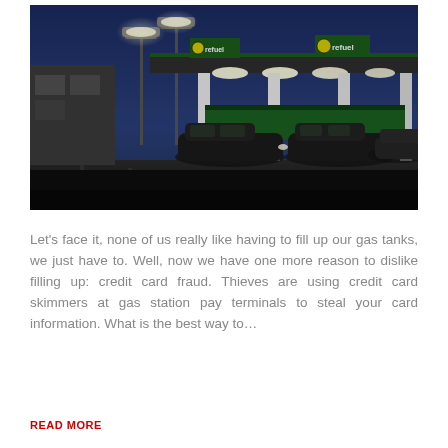[Figure (photo): Night photograph of a Morrisons (Refuel branded) gas station with cars fueling under bright white canopy lights against a dark blue evening sky. Multiple cars are visible at the pumps. The station has yellow and green Refuel branding signage.]
Let's face it, none of us really like having to fill up our gas tanks, we just have to. Well, now we have one more reason to dislike filling up: credit card fraud. Thieves are using credit card skimmers at gas station pay terminals to steal your card information. What is the best way to…
READ MORE